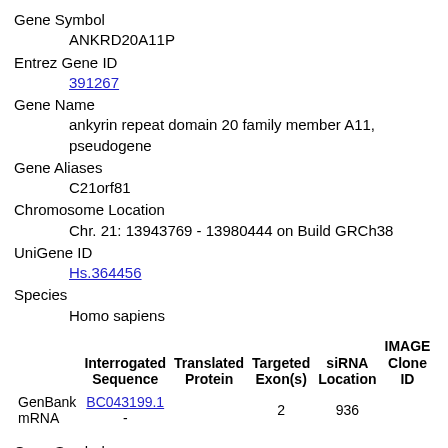Gene Symbol
ANKRD20A11P
Entrez Gene ID
391267
Gene Name
ankyrin repeat domain 20 family member A11, pseudogene
Gene Aliases
C21orf81
Chromosome Location
Chr. 21: 13943769 - 13980444 on Build GRCh38
UniGene ID
Hs.364456
Species
Homo sapiens
| Interrogated Sequence | Translated Protein | Targeted Exon(s) | siRNA Location | IMAGE Clone ID |
| --- | --- | --- | --- | --- |
| GenBank mRNA | BC043199.1 - | 2 | 936 |  |
Gene Symbol
ANKRD54
Entrez Gene ID